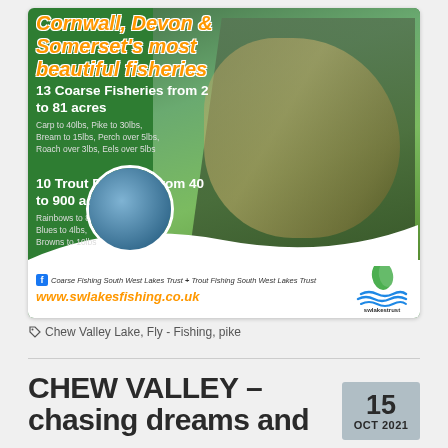[Figure (photo): Advertisement for SW Lakes Trust fishing. Green background with photos of anglers holding large carp and trout. Shows text about coarse and trout fisheries in Cornwall, Devon & Somerset.]
Chew Valley Lake, Fly - Fishing, pike
CHEW VALLEY – chasing dreams and
15 OCT 2021